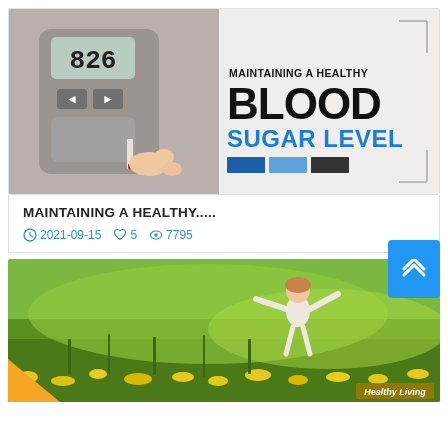[Figure (photo): Blood glucose meter being used to test blood sugar level, with overlay text reading MAINTAINING A HEALTHY BLOOD SUGAR LEVEL in black and blue, plus color swatches]
MAINTAINING A HEALTHY.....
2021-09-15  ♥ 5  👁 7795
[Figure (photo): Woman with arms outstretched in a field of yellow flowers and green grass, with Healthy Living badge in lower right and orange triangle in lower left]